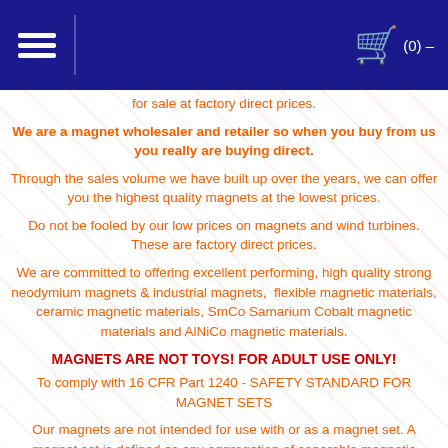menu | cart (0)
for sale at factory direct prices.
We are a magnet wholesaler and retailer so when you buy from us you really are buying direct.
Through the sales volume we have built up over the years, we can offer you the highest quality magnets at the lowest prices.
Do not be fooled by our low prices on magnets and wind turbines. These are factory direct prices.
We are committed to offering excellent performing, high quality strong neodymium magnets & industrial magnets, flexible magnetic materials, ceramic magnetic materials, SmCo Samarium Cobalt magnetic materials and AlNiCo magnetic materials.
MAGNETS ARE NOT TOYS! FOR ADULT USE ONLY!
To comply with 16 CFR Part 1240 - SAFETY STANDARD FOR MAGNET SETS
Our magnets are not intended for use with or as a magnet set. A magnet set is defined as any aggregation of separable magnetic objects that is a